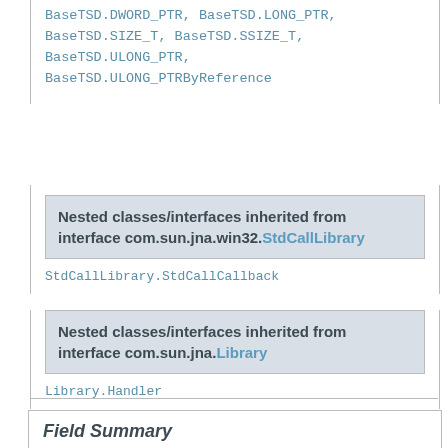BaseTSD.DWORD_PTR, BaseTSD.LONG_PTR, BaseTSD.SIZE_T, BaseTSD.SSIZE_T, BaseTSD.ULONG_PTR, BaseTSD.ULONG_PTRByReference
Nested classes/interfaces inherited from interface com.sun.jna.win32.StdCallLibrary
StdCallLibrary.StdCallCallback
Nested classes/interfaces inherited from interface com.sun.jna.Library
Library.Handler
Field Summary
Fields